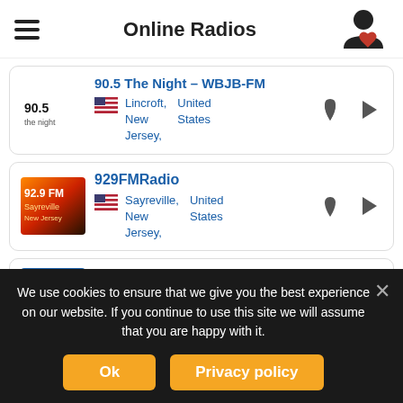Online Radios
90.5 The Night – WBJB-FM, Lincroft, New Jersey, United States
929FMRadio, Sayreville, New Jersey, United States
95.1 WAYV – WAYV, Atlantic City, New Jersey, United States
We use cookies to ensure that we give you the best experience on our website. If you continue to use this site we will assume that you are happy with it.